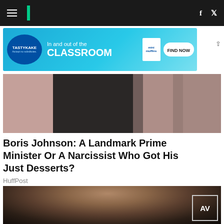HuffPost navigation bar with hamburger menu, logo, Facebook and Twitter icons
[Figure (photo): Tastykake advertisement banner: 'In and out of the CLASSROOM - FIND NOW' with mini muffins product image]
[Figure (photo): Partial article hero image with muted pink/mauve background and black-and-white figure silhouette]
Boris Johnson: A Landmark Prime Minister Or A Narcissist Who Got His Just Desserts?
HuffPost
[Figure (photo): Close-up photo of a bearded man with dark hair against a dark background, with an 'AV' badge/logo visible at bottom right]